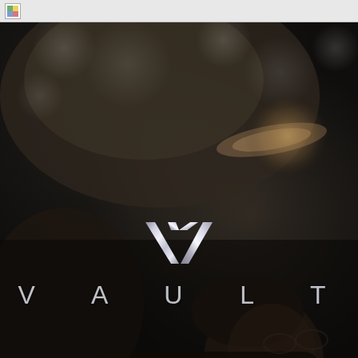[Figure (photo): Dark background photo showing a person in profile view, dimly lit, with bokeh lighting effects in the background. The overall tone is very dark and moody.]
[Figure (logo): VAULT company logo consisting of a metallic silver/chrome 'V' chevron symbol above the word 'VAULT' in spaced silver capital letters]